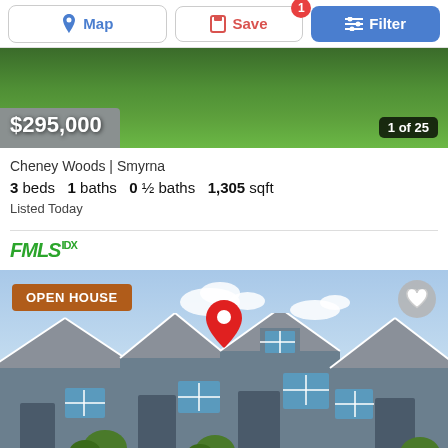[Figure (screenshot): Mobile app toolbar with Map, Save (badge 1), and Filter buttons]
[Figure (photo): Aerial/street view of green lawn and driveway, $295,000 price overlay, 1 of 25 photo counter]
Cheney Woods | Smyrna
3 beds  1 baths  0 ½ baths  1,305 sqft
Listed Today
[Figure (logo): FMLS IDX logo in green italic font]
[Figure (photo): Row of gray townhomes with blue sky; OPEN HOUSE badge; heart favorite button; red map pin marker over center house]